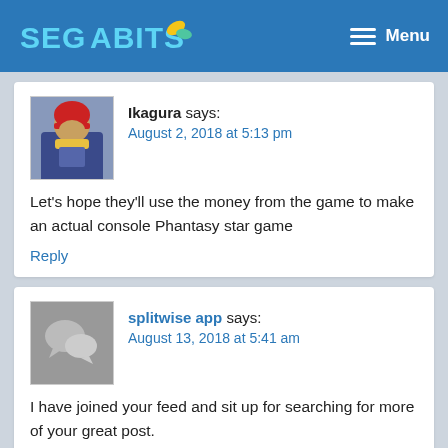SEGABITS — Menu
Ikagura says: August 2, 2018 at 5:13 pm
Let's hope they'll use the money from the game to make an actual console Phantasy star game
Reply
splitwise app says: August 13, 2018 at 5:41 am
I have joined your feed and sit up for searching for more of your great post.
Additionally, I have shared your web site in my social networks